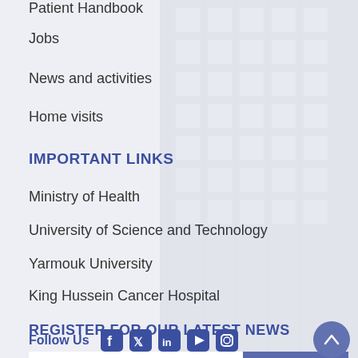Patient Handbook
Jobs
News and activities
Home visits
IMPORTANT LINKS
Ministry of Health
University of Science and Technology
Yarmouk University
King Hussein Cancer Hospital
REGISTER FOR OUR LATEST NEWS
Email
Subscribe
Follow Us